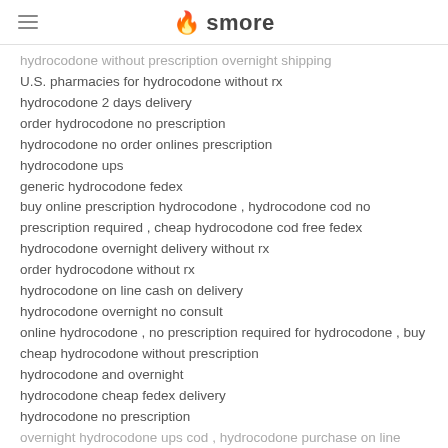smore
hydrocodone without prescription overnight shipping
U.S. pharmacies for hydrocodone without rx
hydrocodone 2 days delivery
order hydrocodone no prescription
hydrocodone no order onlines prescription
hydrocodone ups
generic hydrocodone fedex
buy online prescription hydrocodone , hydrocodone cod no prescription required , cheap hydrocodone cod free fedex
hydrocodone overnight delivery without rx
order hydrocodone without rx
hydrocodone on line cash on delivery
hydrocodone overnight no consult
online hydrocodone , no prescription required for hydrocodone , buy cheap hydrocodone without prescription
hydrocodone and overnight
hydrocodone cheap fedex delivery
hydrocodone no prescription
overnight hydrocodone ups cod , hydrocodone purchase on line